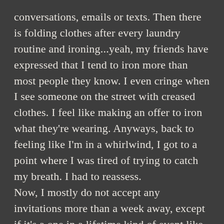conversations, emails or texts. Then there is folding clothes after every laundry routine and ironing...yeah, my friends have expressed that I tend to iron more than most people they know. I even cringe when I see someone on the street with creased clothes. I feel like making an offer to iron what they're wearing. Anyways, back to feeling like I'm in a whirlwind, I got to a point where I was tired of trying to catch my breath. I had to reassess.
Now, I mostly do not accept any invitations more than a week away, except if it's a one in a lifetime kind of event like a wedding or graduation and so forth. There are times when I am organising an event or a group outing and there's always one or two people who are constantly excited and talking about the event to come